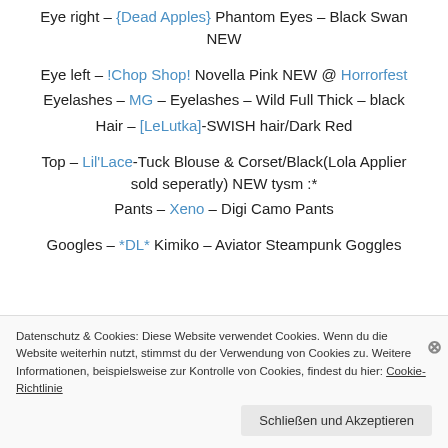Eye right – {Dead Apples} Phantom Eyes – Black Swan NEW
Eye left – !Chop Shop! Novella Pink NEW @ Horrorfest
Eyelashes – MG – Eyelashes – Wild Full Thick – black
Hair – [LeLutka]-SWISH hair/Dark Red
Top – Lil'Lace-Tuck Blouse & Corset/Black(Lola Applier sold seperatly) NEW tysm :*
Pants – Xeno – Digi Camo Pants
Googles – *DL* Kimiko – Aviator Steampunk Goggles
Datenschutz & Cookies: Diese Website verwendet Cookies. Wenn du die Website weiterhin nutzt, stimmst du der Verwendung von Cookies zu. Weitere Informationen, beispielsweise zur Kontrolle von Cookies, findest du hier: Cookie-Richtlinie
Schließen und Akzeptieren